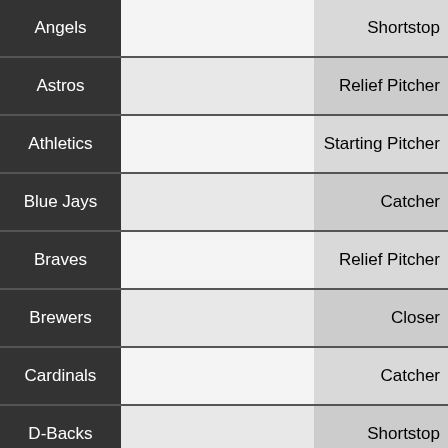| Team |  | Position |
| --- | --- | --- |
| Angels |  | Shortstop |
| Astros |  | Relief Pitcher |
| Athletics |  | Starting Pitcher |
| Blue Jays |  | Catcher |
| Braves |  | Relief Pitcher |
| Brewers |  | Closer |
| Cardinals |  | Catcher |
| D-Backs |  | Shortstop |
| D-Backs |  | Firstbase |
| Mariners |  | Closer |
| Mariners |  | Secondbase |
| Mets |  | Relief Pitcher |
| Nationals |  | Outfield |
| Nationals |  | Starting Pitcher |
| Orioles |  | Relief Pitcher |
| Orioles |  | Shortstop |
| Orioles |  | Starting Pitcher |